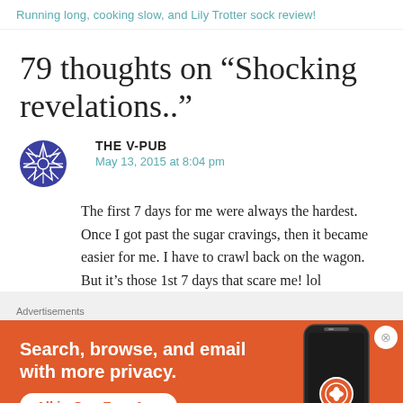Running long, cooking slow, and Lily Trotter sock review!
79 thoughts on “Shocking revelations..”
THE V-PUB
May 13, 2015 at 8:04 pm
The first 7 days for me were always the hardest. Once I got past the sugar cravings, then it became easier for me. I have to crawl back on the wagon. But it’s those 1st 7 days that scare me! lol
Advertisements
[Figure (other): DuckDuckGo advertisement banner with orange background, text 'Search, browse, and email with more privacy. All in One Free App', phone mockup with DuckDuckGo logo]